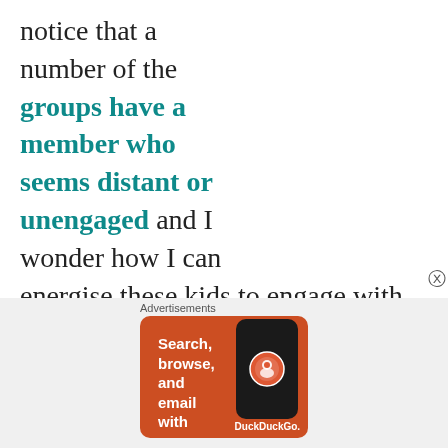notice that a number of the groups have a member who seems distant or unengaged and I wonder how I can energise these kids to engage with the group or task during the short time that I've got them? (I teach in a high school still restricted
[Figure (screenshot): Advertisement banner for DuckDuckGo app with orange background, white text reading 'Search, browse, and email with more privacy. All in One Free App', and an image of a smartphone with the DuckDuckGo logo.]